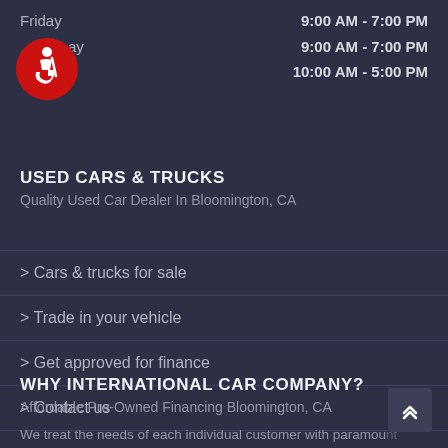Friday  9:00 AM - 7:00 PM
Saturday  9:00 AM - 7:00 PM
Sunday  10:00 AM - 5:00 PM
[Figure (illustration): Red circular accessibility icon with white wheelchair user symbol]
USED CARS & TRUCKS
Quality Used Car Dealer In Bloomington, CA
> Cars & trucks for sale
> Trade in your vehicle
> Get approved for finance
> Contact us
WHY INTERNATIONAL CAR COMPANY?
Affordable Pre-Owned Financing Bloomington, CA
We treat the needs of each individual customer with paramount concern. We know that you have high expectations, and as a car